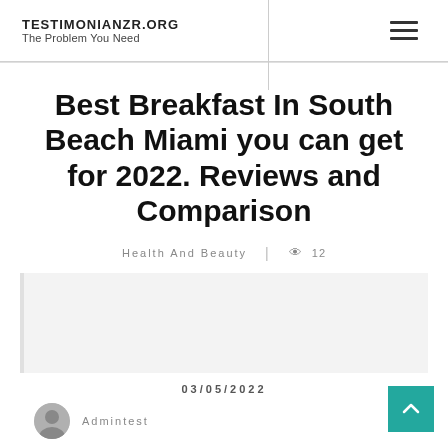TESTIMONIANZR.ORG
The Problem You Need
Best Breakfast In South Beach Miami you can get for 2022. Reviews and Comparison
Health And Beauty | 12
[Figure (photo): Article featured image placeholder (light gray box)]
03/05/2022
Admintest